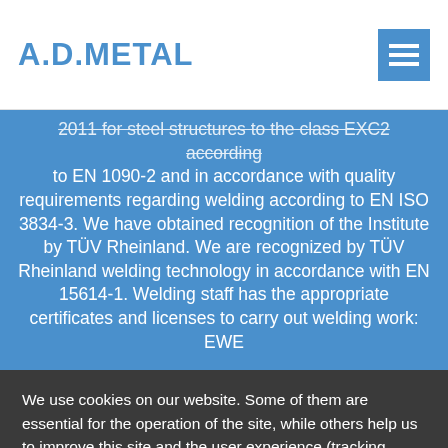A.D.METAL
2011 for steel structures to the class EXC2 according to EN 1090-2 and in accordance with quality requirements regarding welding according to EN ISO 3834-3. We have obtained recognition of the Institute by TÜV Rheinland. We are recognized by TÜV Rheinland welding technology in accordance with EN 15614-1. Welding staff has the appropriate certificates and licenses to carry out welding work: EWE
We use cookies on our website. Some of them are essential for the operation of the site, while others help us to improve this site and the user experience (tracking cookies). You can decide for yourself whether you want to allow cookies or not. Please note that if you reject them, you may not be able to use all the functionalities of the site.
OK
More information